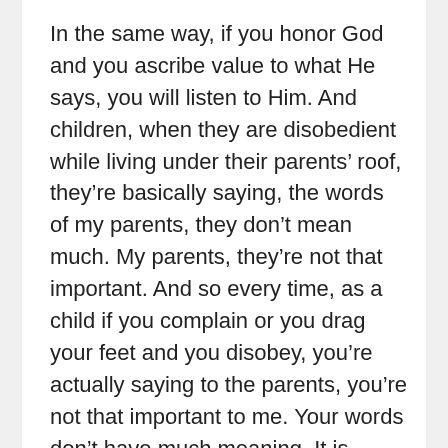In the same way, if you honor God and you ascribe value to what He says, you will listen to Him. And children, when they are disobedient while living under their parents’ roof, they’re basically saying, the words of my parents, they don’t mean much. My parents, they’re not that important. And so every time, as a child if you complain or you drag your feet and you disobey, you’re actually saying to the parents, you’re not that important to me. Your words don’t have much meaning. It is optional whether I obey or not.
And that is the rebelliousness of a child that